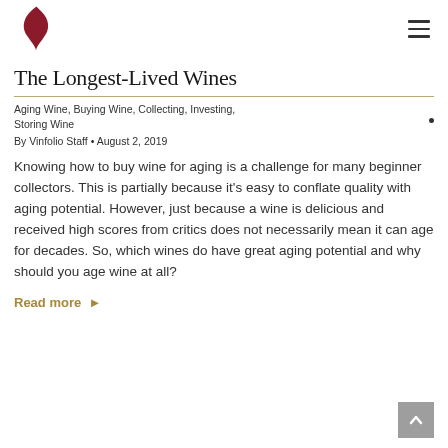Vinfolio logo and navigation
The Longest-Lived Wines
Aging Wine, Buying Wine, Collecting, Investing, Storing Wine
By Vinfolio Staff • August 2, 2019
Knowing how to buy wine for aging is a challenge for many beginner collectors. This is partially because it's easy to conflate quality with aging potential. However, just because a wine is delicious and received high scores from critics does not necessarily mean it can age for decades. So, which wines do have great aging potential and why should you age wine at all?
Read more ▸